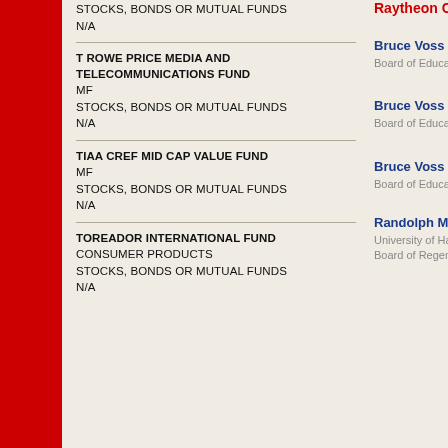STOCKS, BONDS OR MUTUAL FUNDS
N/A
T ROWE PRICE MEDIA AND TELECOMMUNICATIONS FUND
MF
STOCKS, BONDS OR MUTUAL FUNDS
N/A
TIAA CREF MID CAP VALUE FUND
MF
STOCKS, BONDS OR MUTUAL FUNDS
N/A
TOREADOR INTERNATIONAL FUND
CONSUMER PRODUCTS
STOCKS, BONDS OR MUTUAL FUNDS
N/A
Raytheon Co
Bruce Voss
Board of Education
Bruce Voss
Board of Education
Bruce Voss
Board of Education
Randolph Moore
University of Hawaii Board of Regents